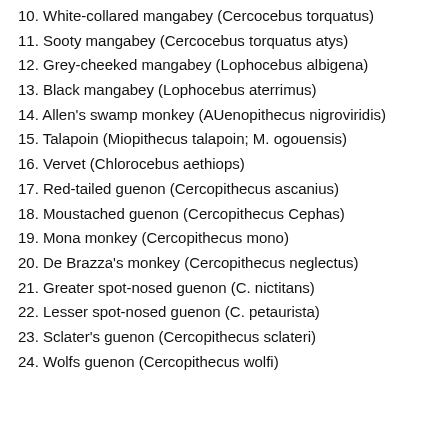10. White-collared mangabey (Cercocebus torquatus)
11. Sooty mangabey (Cercocebus torquatus atys)
12. Grey-cheeked mangabey (Lophocebus albigena)
13. Black mangabey (Lophocebus aterrimus)
14. Allen's swamp monkey (AUenopithecus nigroviridis)
15. Talapoin (Miopithecus talapoin; M. ogouensis)
16. Vervet (Chlorocebus aethiops)
17. Red-tailed guenon (Cercopithecus ascanius)
18. Moustached guenon (Cercopithecus Cephas)
19. Mona monkey (Cercopithecus mono)
20. De Brazza's monkey (Cercopithecus neglectus)
21. Greater spot-nosed guenon (C. nictitans)
22. Lesser spot-nosed guenon (C. petaurista)
23. Sclater's guenon (Cercopithecus sclateri)
24. Wolfs guenon (Cercopithecus wolfi)